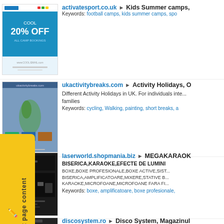[Figure (screenshot): Screenshot of activatesport.co.uk website showing a blue banner with '20% OFF ALL CAMP BOOKINGS']
activatesport.co.uk ► Kids Summer camps, Keywords: football camps, kids summer camps, spo
[Figure (screenshot): Screenshot of ukactivitybreaks.com showing a map of the UK and activity images]
ukactivitybreaks.com ► Activity Holidays, O. Different Activity Holidays in UK. For individuals inte... families. Keywords: cycling, Walking, painting, short breaks, a
[Figure (screenshot): Screenshot of laserworld.shopmania.biz showing dark background with speaker/audio equipment images]
laserworld.shopmania.biz ► MEGAKARAOK BISERICA,KARAOKE,EFECTE DE LUMINI. BOXE,BOXE PROFESIONALE,BOXE ACTIVE,SIST... BISERICA,AMPLIFICATOARE,MIXERE,STATIVE B... KARAOKE,MICROFOANE,MICROFOANE FARA FI... Keywords: boxe, amplificatoare, boxe profesionale,
[Figure (screenshot): Screenshot of discosystem.ro with dark background showing TRAINERUL A SUCEAVA text]
discosystem.ro ► Disco System, Magazinul. Disco System, Magazinul Muzica Suceava situat pe... digitale,viori,chitari,contrabas,violoncel mandolina b
[Figure (other): Yellow sidebar tab with pencil icon and text 'Report page content' rotated vertically]